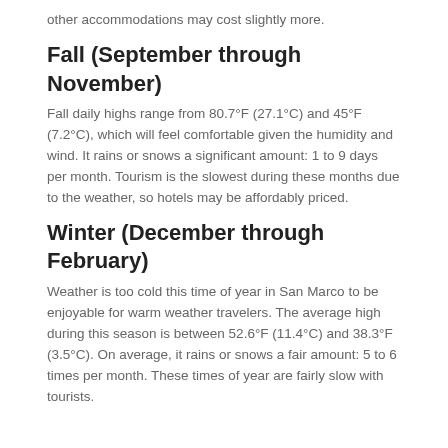other accommodations may cost slightly more.
Fall (September through November)
Fall daily highs range from 80.7°F (27.1°C) and 45°F (7.2°C), which will feel comfortable given the humidity and wind. It rains or snows a significant amount: 1 to 9 days per month. Tourism is the slowest during these months due to the weather, so hotels may be affordably priced.
Winter (December through February)
Weather is too cold this time of year in San Marco to be enjoyable for warm weather travelers. The average high during this season is between 52.6°F (11.4°C) and 38.3°F (3.5°C). On average, it rains or snows a fair amount: 5 to 6 times per month. These times of year are fairly slow with tourists.